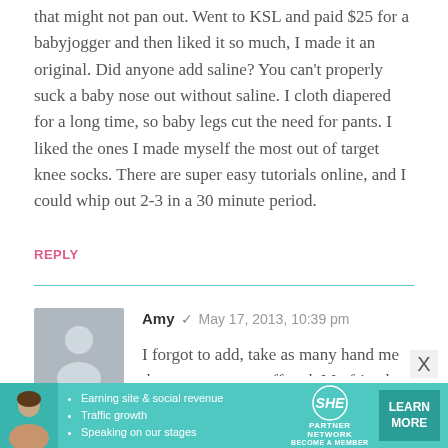that might not pan out. Went to KSL and paid $25 for a babyjogger and then liked it so much, I made it an original. Did anyone add saline? You can't properly suck a baby nose out without saline. I cloth diapered for a long time, so baby legs cut the need for pants. I liked the ones I made myself the most out of target knee socks. There are super easy tutorials online, and I could whip out 2-3 in a 30 minute period.
REPLY
Amy  May 17, 2013, 10:39 pm
I forgot to add, take as many hand me downs as you are offered. My friend was on government assistance and had absolutely no money when she was expecting her first. I offered her any and all of my stuff. She didn't want it, because I didn't have the fanciest, newest,
[Figure (infographic): Advertisement banner for SHE Partner Network with image of woman, bullet points about earning site & social revenue, traffic growth, speaking on stages, SHE logo, and LEARN MORE button]